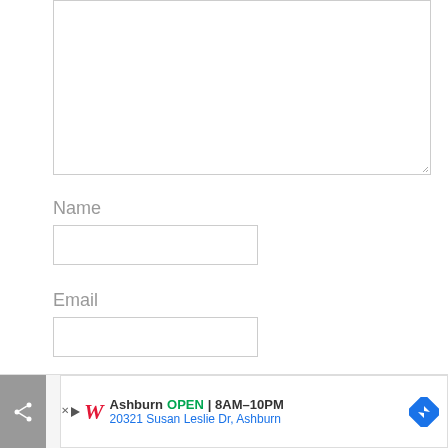[Figure (screenshot): Empty textarea input box with resize handle at bottom-right]
Name
[Figure (screenshot): Name text input field (empty)]
Email
[Figure (screenshot): Email text input field (empty)]
[Figure (screenshot): Bottom advertisement banner: Walgreens Ashburn OPEN 8AM-10PM, 20321 Susan Leslie Dr, Ashburn, with share button and navigation icon]